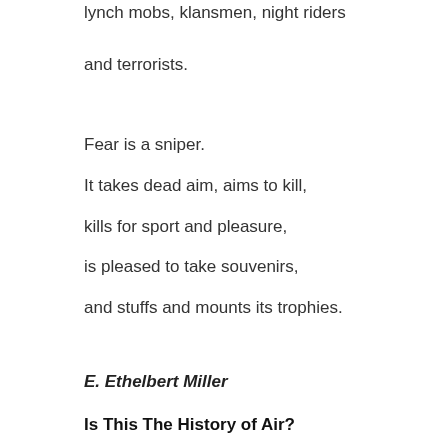lynch mobs, klansmen, night riders
and terrorists.
Fear is a sniper.
It takes dead aim, aims to kill,
kills for sport and pleasure,
is pleased to take souvenirs,
and stuffs and mounts its trophies.
E. Ethelbert Miller
Is This The History of Air?